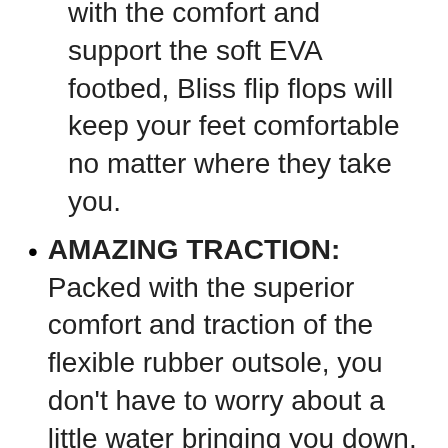with the comfort and support the soft EVA footbed, Bliss flip flops will keep your feet comfortable no matter where they take you.
AMAZING TRACTION: Packed with the superior comfort and traction of the flexible rubber outsole, you don't have to worry about a little water bringing you down.
BEACH FREELY: REEF encourages people around the world to embrace the spirit of the beach while living by one simple rule: Beach Freely. Our products are designed to embrace freedom...